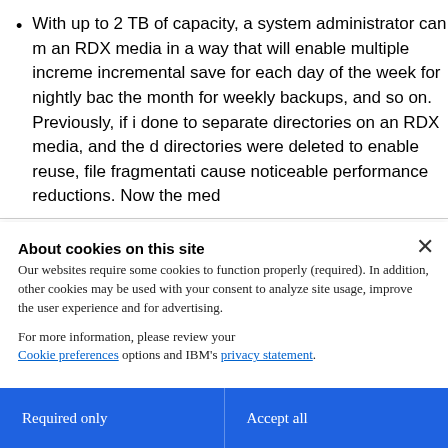With up to 2 TB of capacity, a system administrator can manage an RDX media in a way that will enable multiple incremental save for each day of the week for nightly backups, the month for weekly backups, and so on. Previously, if incremental done to separate directories on an RDX media, and the directories were deleted to enable reuse, file fragmentation cause noticeable performance reductions. Now the medi
About cookies on this site
Our websites require some cookies to function properly (required). In addition, other cookies may be used with your consent to analyze site usage, improve the user experience and for advertising.

For more information, please review your Cookie preferences options and IBM's privacy statement.
Required only
Accept all